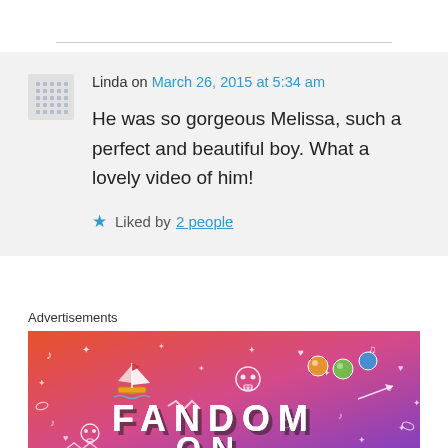Linda on March 26, 2015 at 5:34 am

He was so gorgeous Melissa, such a perfect and beautiful boy. What a lovely video of him!

★ Liked by 2 people
Advertisements
[Figure (illustration): Colorful Fandom on Tumblr advertisement banner with orange-to-purple gradient background, white doodle icons (skull, sailboat, musical notes, hearts, arrows, diamonds), and bold text reading FANDOM ON tumblr]